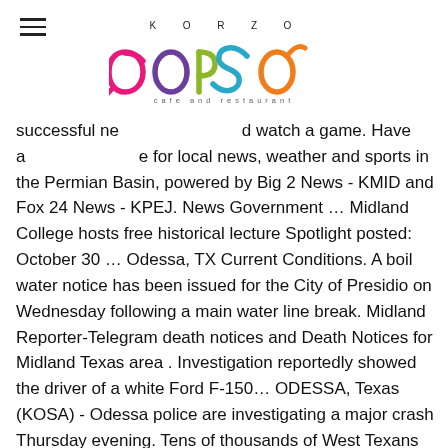K O R Z O
[Figure (logo): Korzo cafe and restaurant colorful logo — letters c, o, r, s, o in pink, purple, green, blue, orange colors with decorative swirls]
successful ne                      d watch a game. Have a   cafe and restaurant  e for local news, weather and sports in the Permian Basin, powered by Big 2 News - KMID and Fox 24 News - KPEJ. News Government … Midland College hosts free historical lecture Spotlight posted: October 30 … Odessa, TX Current Conditions. A boil water notice has been issued for the City of Presidio on Wednesday following a main water line break. Midland Reporter-Telegram death notices and Death Notices for Midland Texas area . Investigation reportedly showed the driver of a white Ford F-150… ODESSA, Texas (KOSA) - Odessa police are investigating a major crash Thursday evening. Tens of thousands of West Texans cast their votes early for the November election, a trend that was seen across the entire state. The Odessa Police Department is reportedly looking for a person involved in a hit and run investigation. Fernando Luna said his family's hearts are broken after